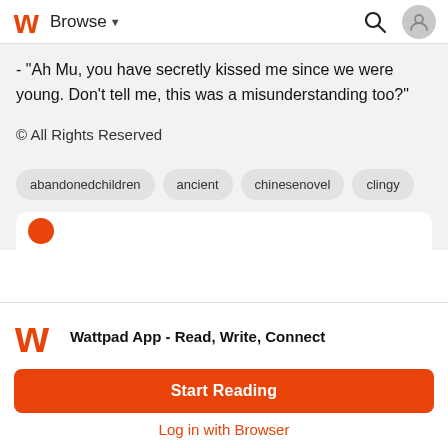Browse
- "Ah Mu, you have secretly kissed me since we were young. Don't tell me, this was a misunderstanding too?"
© All Rights Reserved
abandonedchildren
ancient
chinesenovel
clingy
Wattpad App - Read, Write, Connect
Start Reading
Log in with Browser